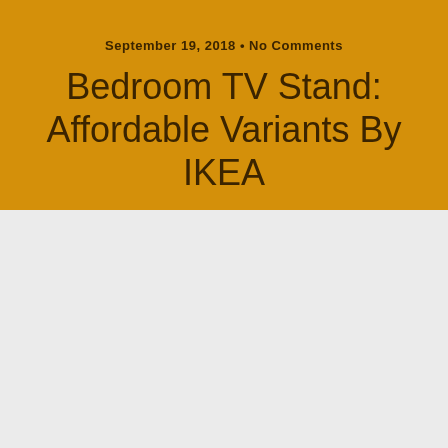September 19, 2018 • No Comments
Bedroom TV Stand: Affordable Variants By IKEA